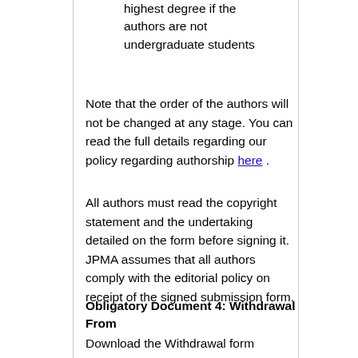highest degree if the authors are not undergraduate students
Note that the order of the authors will not be changed at any stage. You can read the full details regarding our policy regarding authorship here .
All authors must read the copyright statement and the undertaking detailed on the form before signing it. JPMA assumes that all authors comply with the editorial policy on receipt of the signed submission form.
Obligatory Document 4: Withdrawal From
Download the Withdrawal form from here .